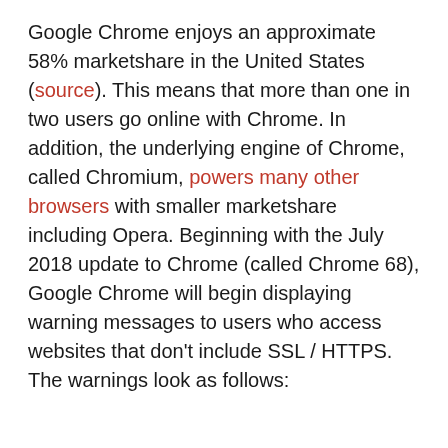Google Chrome enjoys an approximate 58% marketshare in the United States (source). This means that more than one in two users go online with Chrome. In addition, the underlying engine of Chrome, called Chromium, powers many other browsers with smaller marketshare including Opera. Beginning with the July 2018 update to Chrome (called Chrome 68), Google Chrome will begin displaying warning messages to users who access websites that don't include SSL / HTTPS. The warnings look as follows: